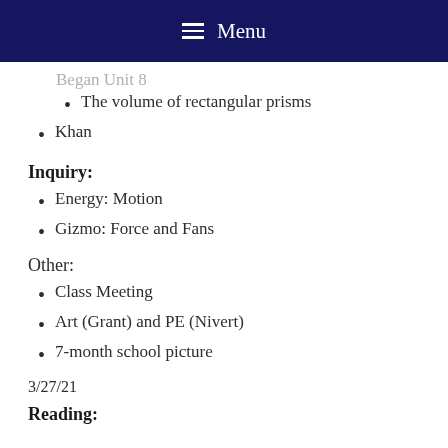Menu
Began Unit 8
The volume of rectangular prisms
Khan
Inquiry:
Energy: Motion
Gizmo: Force and Fans
Other:
Class Meeting
Art (Grant) and PE (Nivert)
7-month school picture
3/27/21
Reading: